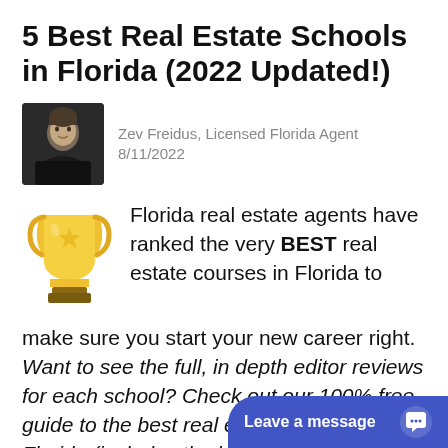5 Best Real Estate Schools in Florida (2022 Updated!)
Zev Freidus, Licensed Florida Agent
8/11/2022
[Figure (illustration): Author headshot photo of Zev Freidus]
[Figure (illustration): Golden trophy emoji icon]
Florida real estate agents have ranked the very BEST real estate courses in Florida to make sure you start your new career right.  Want to see the full, in depth editor reviews for each school? Check out our 100% free guide to the best real estate schools in Florida (includes the latest 2022 pricing, re...
Leave a message